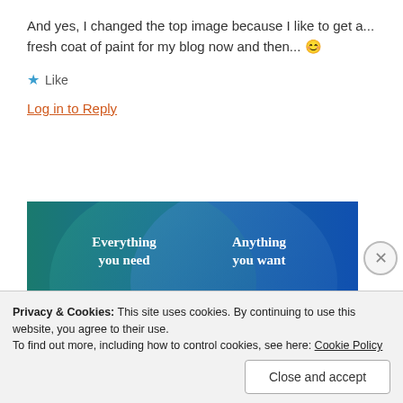And yes, I changed the top image because I like to get a... fresh coat of paint for my blog now and then... 😊
★ Like
Log in to Reply
[Figure (screenshot): Blue and teal gradient background with two overlapping circles. Left circle on teal background reads 'Everything you need', right circle on blue background reads 'Anything you want'. A pink/magenta button is partially visible at the bottom.]
Privacy & Cookies: This site uses cookies. By continuing to use this website, you agree to their use.
To find out more, including how to control cookies, see here: Cookie Policy
Close and accept